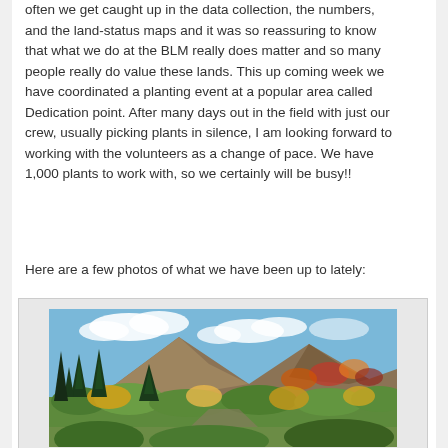often we get caught up in the data collection, the numbers, and the land-status maps and it was so reassuring to know that what we do at the BLM really does matter and so many people really do value these lands. This up coming week we have coordinated a planting event at a popular area called Dedication point. After many days out in the field with just our crew, usually picking plants in silence, I am looking forward to working with the volunteers as a change of pace. We have 1,000 plants to work with, so we certainly will be busy!!
Here are a few photos of what we have been up to lately:
[Figure (photo): Autumn mountain landscape with colorful foliage including green shrubs, yellow and orange trees, dark evergreen conifers, a brown rocky mountain slope, and a partly cloudy blue sky.]